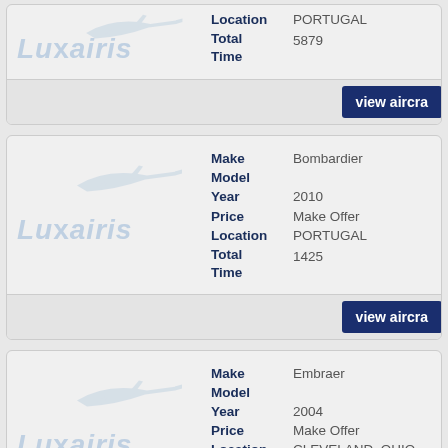[Figure (other): Luxairis logo with plane watermark - partial top card showing Location PORTUGAL, Total Time 5879, with view aircraft button]
| Field | Value |
| --- | --- |
| Make | Bombardier |
| Model |  |
| Year | 2010 |
| Price | Make Offer |
| Location | PORTUGAL |
| Total Time | 1425 |
| Field | Value |
| --- | --- |
| Make | Embraer |
| Model |  |
| Year | 2004 |
| Price | Make Offer |
| Location | CLEVELAND, OHIO |
| Total | 9606 |